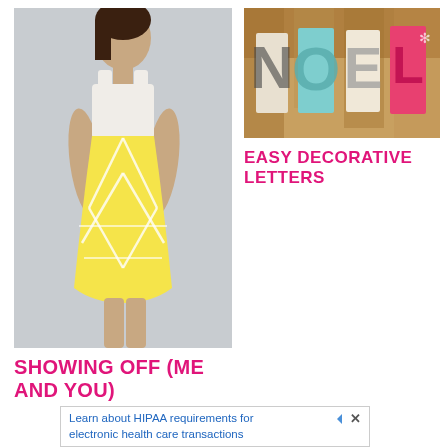[Figure (photo): Woman wearing a yellow and white patterned sleeveless dress, standing with hands on hips against a light gray background, dark hair pulled back]
[Figure (photo): Decorative wooden letters spelling NOEL, decorated with colorful patterned paper in red, teal, and cream colors, arranged on a wooden surface]
EASY DECORATIVE LETTERS
SHOWING OFF (ME AND YOU)
Learn about HIPAA requirements for electronic health care transactions